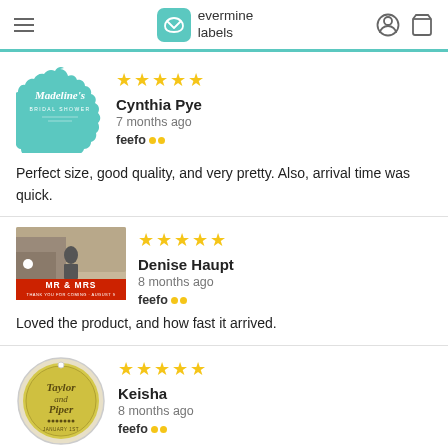evermine labels
[Figure (illustration): Madeline's Bridal Shower scallop badge label in teal]
Cynthia Pye
7 months ago
Perfect size, good quality, and very pretty. Also, arrival time was quick.
[Figure (photo): Mr & Mrs wedding thank you label with couple photo]
Denise Haupt
8 months ago
Loved the product, and how fast it arrived.
[Figure (illustration): Taylor and Piper round yellow label]
Keisha
8 months ago